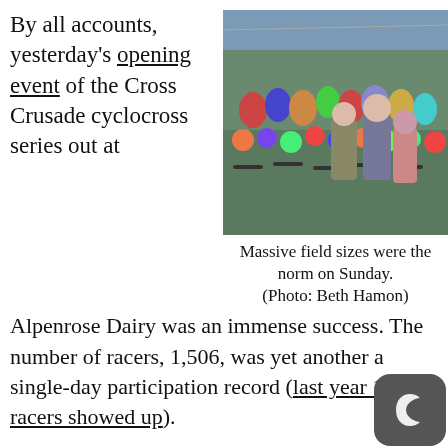By all accounts, yesterday's opening event of the Cross Crusade cyclocross series out at Alpenrose Dairy was an immense success. The number of racers, 1,506, was yet another a single-day participation record (last year 1,438 racers showed up).
[Figure (photo): Large crowd of cyclists with helmets and bikes gathered at the start of a cyclocross race event.]
Massive field sizes were the norm on Sunday. (Photo: Beth Hamon)
In addition to the 1,500-plus adults, 256 kids lined up for the “Kiddie Kilo” which makes it clear that the future of cyclocross is also in good hands.